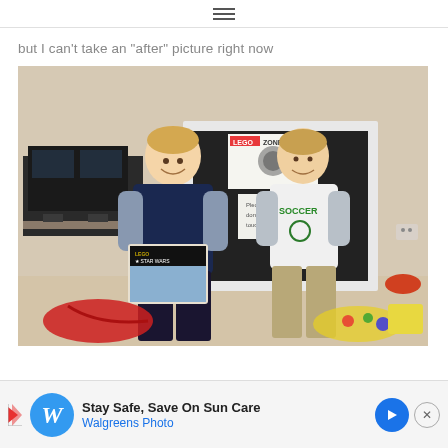≡
but I can't take an "after" picture right now
[Figure (photo): Two young boys standing in a living room in front of a fireplace. The boy on the left is wearing an Adidas shirt and holding a LEGO Star Wars box. The boy on the right is wearing a white Soccer shirt. There is a sign on the fireplace that reads 'LEGO ZONE'. Red and colorful wrapping paper is scattered on the floor.]
Stay Safe, Save On Sun Care
Walgreens Photo